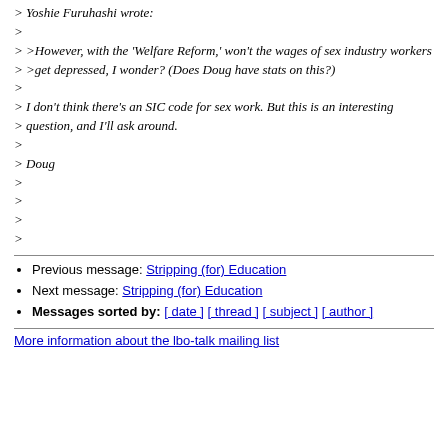> Yoshie Furuhashi wrote:
>
> >However, with the 'Welfare Reform,' won't the wages of sex industry workers
> >get depressed, I wonder? (Does Doug have stats on this?)
>
> I don't think there's an SIC code for sex work. But this is an interesting
> question, and I'll ask around.
>
> Doug
>
>
>
>
Previous message: Stripping (for) Education
Next message: Stripping (for) Education
Messages sorted by: [ date ] [ thread ] [ subject ] [ author ]
More information about the lbo-talk mailing list